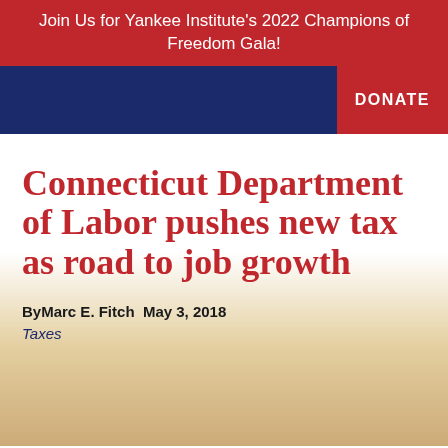Join Us for Yankee Institute's 2022 Champions of Freedom Gala!
Connecticut Department of Labor pushes new tax as road to job growth
By Marc E. Fitch  May 3, 2018
Taxes